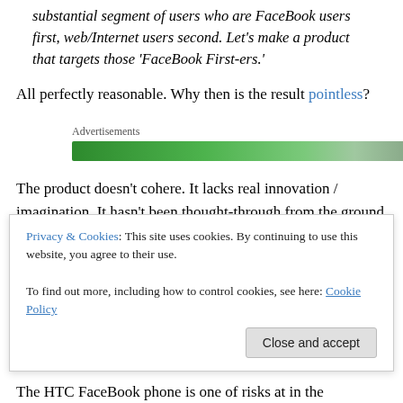substantial segment of users who are FaceBook users first, web/Internet users second. Let's make a product that targets those 'FaceBook First-ers.'
All perfectly reasonable. Why then is the result pointless?
[Figure (other): Green advertisement banner bar with label 'Advertisements' above it]
The product doesn't cohere. It lacks real innovation / imagination. It hasn't been thought-through from the ground up by people who can conceptualize what a
Privacy & Cookies: This site uses cookies. By continuing to use this website, you agree to their use.
To find out more, including how to control cookies, see here: Cookie Policy
The HTC FaceBook phone is one of risks at in the